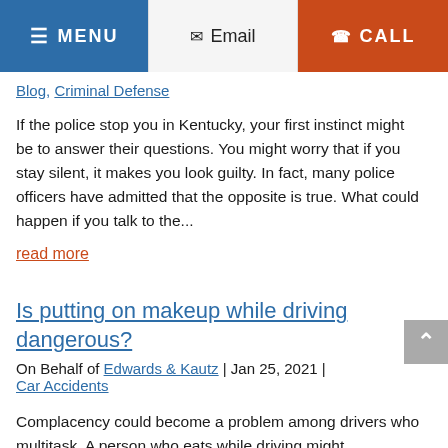MENU  | Email | CALL
Blog, Criminal Defense
If the police stop you in Kentucky, your first instinct might be to answer their questions. You might worry that if you stay silent, it makes you look guilty. In fact, many police officers have admitted that the opposite is true. What could happen if you talk to the...
read more
Is putting on makeup while driving dangerous?
On Behalf of Edwards & Kautz | Jan 25, 2021 | Car Accidents
Complacency could become a problem among drivers who multitask. A person who eats while driving might...